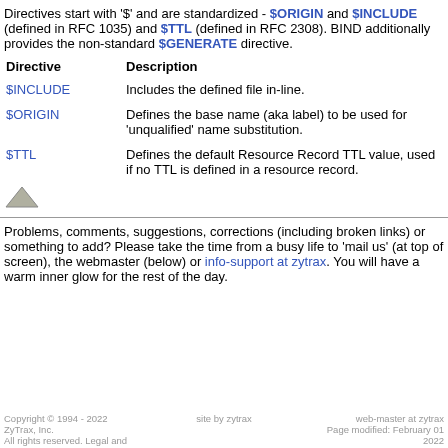Directives start with '$' and are standardized - $ORIGIN and $INCLUDE (defined in RFC 1035) and $TTL (defined in RFC 2308). BIND additionally provides the non-standard $GENERATE directive.
| Directive | Description |
| --- | --- |
| $INCLUDE | Includes the defined file in-line. |
| $ORIGIN | Defines the base name (aka label) to be used for 'unqualified' name substitution. |
| $TTL | Defines the default Resource Record TTL value, used if no TTL is defined in a resource record. |
[Figure (illustration): Small grey triangle/arrow icon]
Problems, comments, suggestions, corrections (including broken links) or something to add? Please take the time from a busy life to 'mail us' (at top of screen), the webmaster (below) or info-support at zytrax. You will have a warm inner glow for the rest of the day.
Copyright © 1994 - 2022 ZyTrax, Inc. All rights reserved. Legal and   site by zytrax   web-master at zytrax Page modified: February 01 2022